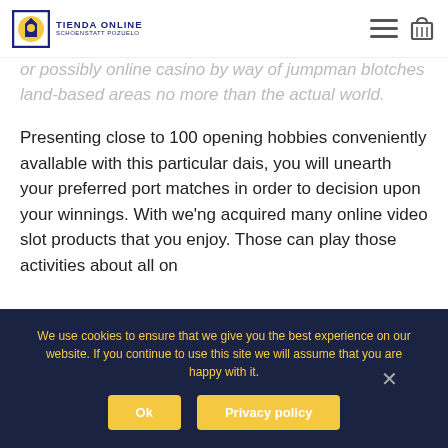TIENDA ONLINE SCHOENSTATT POZUELO
or possibly online casino by way of jumpman blotches land-based areas no more than the actual world.
Presenting close to 100 opening hobbies conveniently avallable with this particular dais, you will unearth your preferred port matches in order to decision upon your winnings. With we'ng acquired many online video slot products that you enjoy. Those can play those activities about all on
We use cookies to ensure that we give you the best experience on our website. If you continue to use this site we will assume that you are happy with it.